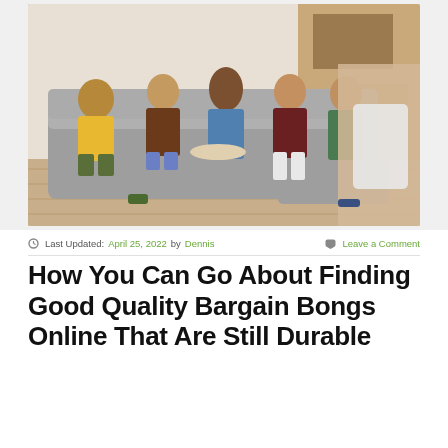[Figure (photo): Group of young people (5-6 teens) sitting on a large grey sectional couch in a living room with wood floors and a kitchen visible in the background. They appear bored or waiting. One person in foreground is blurred holding a white device.]
Last Updated: April 25, 2022 by Dennis    Leave a Comment
How You Can Go About Finding Good Quality Bargain Bongs Online That Are Still Durable